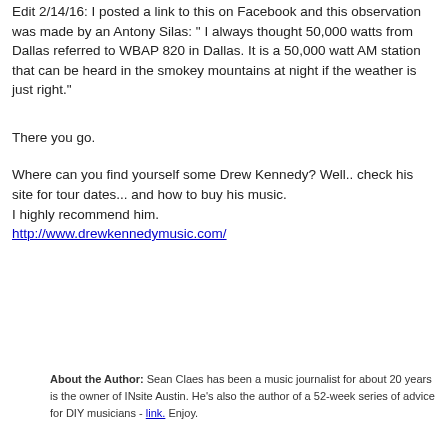Edit 2/14/16: I posted a link to this on Facebook and this observation was made by an Antony Silas: " I always thought 50,000 watts from Dallas referred to WBAP 820 in Dallas. It is a 50,000 watt AM station that can be heard in the smokey mountains at night if the weather is just right."
There you go.
Where can you find yourself some Drew Kennedy? Well.. check his site for tour dates... and how to buy his music.
I highly recommend him.
http://www.drewkennedymusic.com/
About the Author: Sean Claes has been a music journalist for about 20 years is the owner of INsite Austin. He's also the author of a 52-week series of advice for DIY musicians - link. Enjoy.